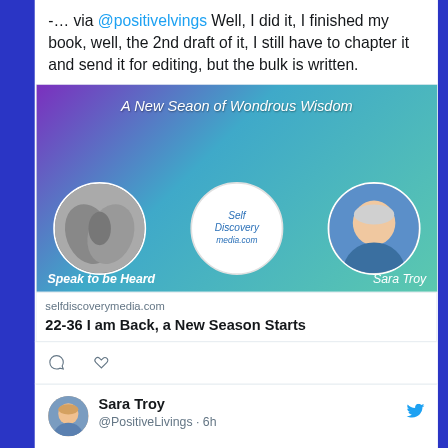-… via @positivelvings Well, I did it, I finished my book, well, the 2nd draft of it, I still have to chapter it and send it for editing, but the bulk is written.
[Figure (illustration): Banner image for 'A New Seaon of Wondrous Wisdom' from Self Discovery media.com. Shows 'Speak to be Heard' on left with hand image, Self Discovery media.com logo in center circle, and Sara Troy photo on right.]
selfdiscoverymedia.com
22-36 I am Back, a New Season Starts
Sara Troy @PositiveLivings · 6h
QS22-36. An End to Suffering with Dr Nancy Wiley